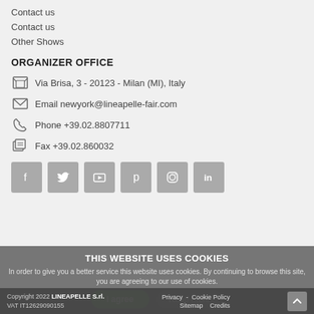Contact us
Contact us
Other Shows
ORGANIZER OFFICE
Via Brisa, 3 - 20123 - Milan (MI), Italy
Email newyork@lineapelle-fair.com
Phone +39.02.8807711
Fax +39.02.860032
[Figure (other): Social media icon buttons: Facebook, Twitter, YouTube, Pinterest, Instagram, LinkedIn]
THIS WEBSITE USES COOKIES
In order to give you a better service this website uses cookies. By continuing to browse this site, you are agreeing to our use of cookies.
Copyright 2022 LINEAPELLE S.rl. Privacy - Cookie Policy Sitemap Credits VAT IT12629090155